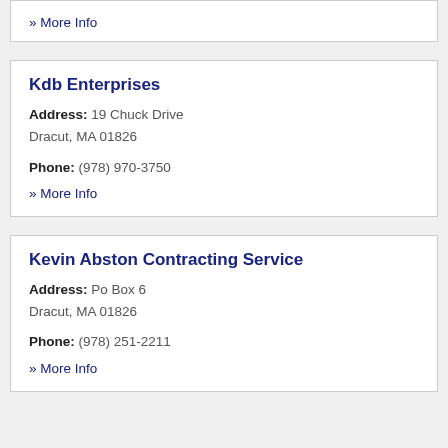» More Info
Kdb Enterprises
Address: 19 Chuck Drive
Dracut, MA 01826
Phone: (978) 970-3750
» More Info
Kevin Abston Contracting Service
Address: Po Box 6
Dracut, MA 01826
Phone: (978) 251-2211
» More Info